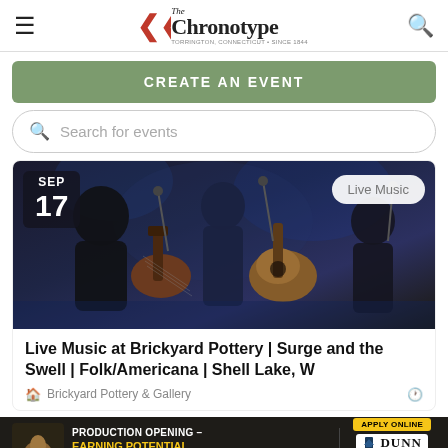The Chronotype
CREATE AN EVENT
Search for events
[Figure (photo): Concert photo with musicians playing guitars on stage in dark blue lighting. Date badge shows SEP 17. Live Music badge in upper right.]
Live Music at Brickyard Pottery | Surge and the Swell | Folk/Americana | Shell Lake, WI
Brickyard Pottery & Gallery
[Figure (photo): Dunn Paper advertisement banner: Production Opening – Earning Potential $80,000+. Apply Online. Dunn Paper is an Equal Opportunity Employer.]